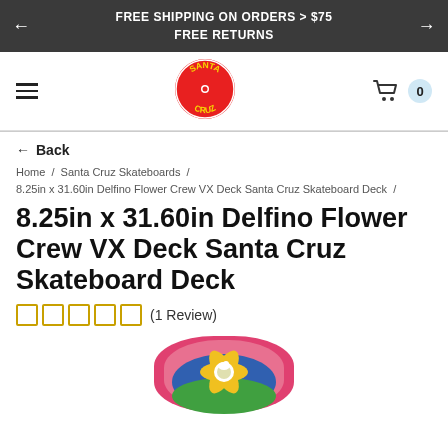FREE SHIPPING ON ORDERS > $75
FREE RETURNS
[Figure (logo): Santa Cruz Skateboards red circle logo with SANTA CRUZ text in yellow and red]
← Back
Home / Santa Cruz Skateboards / 8.25in x 31.60in Delfino Flower Crew VX Deck Santa Cruz Skateboard Deck /
8.25in x 31.60in Delfino Flower Crew VX Deck Santa Cruz Skateboard Deck
☐ ☐ ☐ ☐ ☐  (1 Review)
[Figure (photo): Skateboard deck with colorful Delfino Flower Crew graphic — pink arch background with yellow daisy flower and bird design]